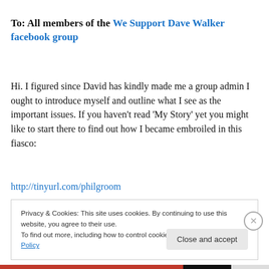To: All members of the We Support Dave Walker facebook group
Hi. I figured since David has kindly made me a group admin I ought to introduce myself and outline what I see as the important issues. If you haven't read ‘My Story’ yet you might like to start there to find out how I became embroiled in this fiasco:
http://tinyurl.com/philgroom
Privacy & Cookies: This site uses cookies. By continuing to use this website, you agree to their use.
To find out more, including how to control cookies, see here: Cookie Policy